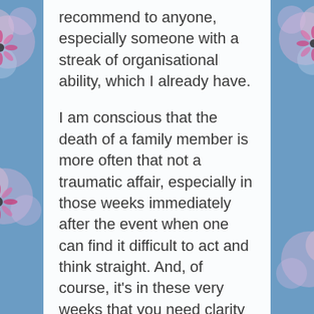recommend to anyone, especially someone with a streak of organisational ability, which I already have.
I am conscious that the death of a family member is more often that not a traumatic affair, especially in those weeks immediately after the event when one can find it difficult to act and think straight. And, of course, it's in these very weeks that you need clarity of mind and purpose whilst 'sorting out the deceased's affairs'. Where to start?
In the case of Sue and I, we have been forward thinking enough to give an